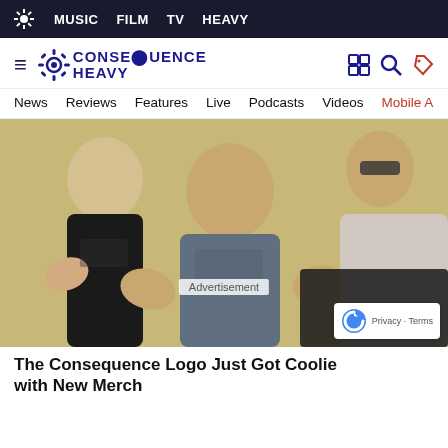MUSIC  FILM  TV  HEAVY
[Figure (logo): Consequence Heavy logo with gear icon and text CONSEQUENCE HEAVY]
News  Reviews  Features  Live  Podcasts  Videos  Mobile A
[Figure (photo): Three men smiling and posing, center man wearing a grey t-shirt giving thumbs up gestures]
Advertisement
The Consequence Logo Just Got Coolie with New Merch